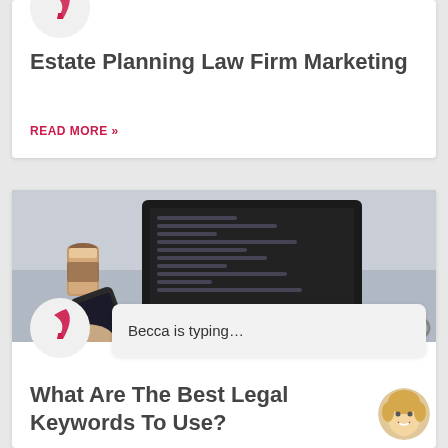Estate Planning Law Firm Marketing
READ MORE »
[Figure (photo): Person at a desk with a laptop showing code on screen, holding a smartphone, with a coffee cup and glasses on the table]
[Figure (illustration): Pink feather quill icon in a circular white background]
Becca is typing...
What Are The Best Legal Keywords To Use?
[Figure (photo): Circular avatar of a smiling blonde woman]